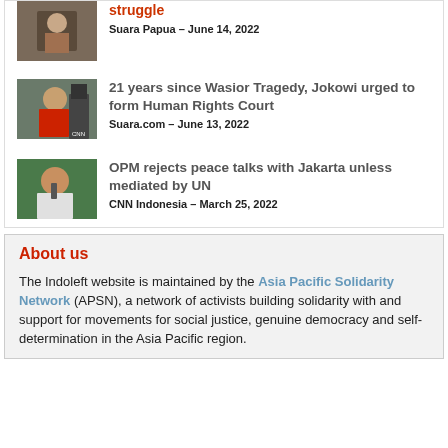[Figure (photo): Thumbnail photo of a protester, partially cut off at top]
struggle
Suara Papua – June 14, 2022
[Figure (photo): Thumbnail photo of a man in sunglasses at a protest, holding a sign]
21 years since Wasior Tragedy, Jokowi urged to form Human Rights Court
Suara.com – June 13, 2022
[Figure (photo): Thumbnail photo of a man speaking at a microphone outdoors]
OPM rejects peace talks with Jakarta unless mediated by UN
CNN Indonesia – March 25, 2022
About us
The Indoleft website is maintained by the Asia Pacific Solidarity Network (APSN), a network of activists building solidarity with and support for movements for social justice, genuine democracy and self-determination in the Asia Pacific region.